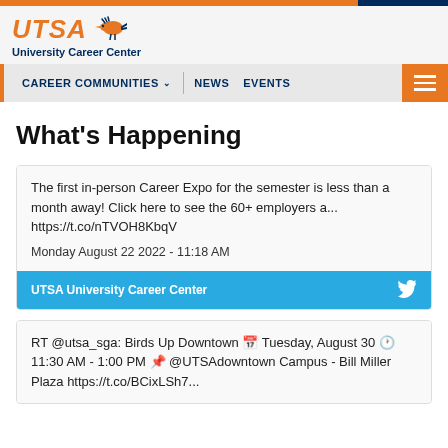UTSA University Career Center — CAREER COMMUNITIES | NEWS | EVENTS
What's Happening
The first in-person Career Expo for the semester is less than a month away! Click here to see the 60+ employers a... https://t.co/nTVOH8KbqV

Monday August 22 2022 - 11:18 AM
UTSA University Career Center
RT @utsa_sga: Birds Up Downtown 📅 Tuesday, August 30 🕐 11:30 AM - 1:00 PM 📍 @UTSAdowntown Campus - Bill Miller Plaza https://t.co/BCixLSh7...